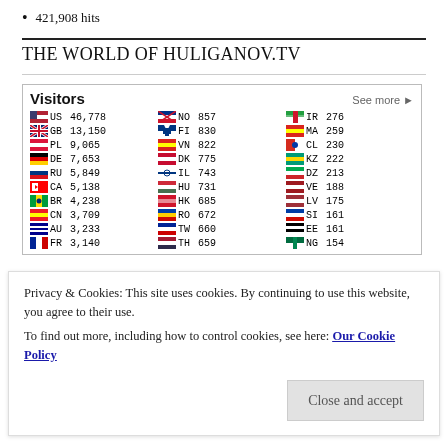421,908 hits
THE WORLD OF HULIGANOV.TV
[Figure (table-as-image): Visitors widget showing country flags, country codes, and visitor counts for multiple countries including US 46,778; GB 13,150; PL 9,065; DE 7,653; RU 5,849; CA 5,138; BR 4,238; CN 3,709; AU 3,233; FR 3,140; NO 857; FI 830; VN 822; DK 775; IL 743; HU 731; HK 685; RO 672; TW 660; TH 659; IR 276; MA 259; CL 230; KZ 222; DZ 213; VE 188; LV 175; SI 161; EE 161; NG 154]
Privacy & Cookies: This site uses cookies. By continuing to use this website, you agree to their use.
To find out more, including how to control cookies, see here: Our Cookie Policy
Close and accept